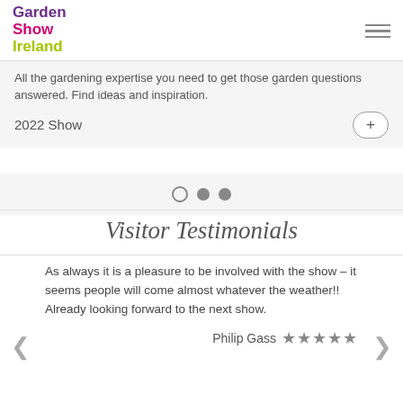Garden Show Ireland
All the gardening expertise you need to get those garden questions answered. Find ideas and inspiration.
2022 Show
[Figure (other): Carousel pagination dots: one open circle and two filled circles]
Visitor Testimonials
As always it is a pleasure to be involved with the show – it seems people will come almost whatever the weather!! Already looking forward to the next show.
Philip Gass ★★★★★